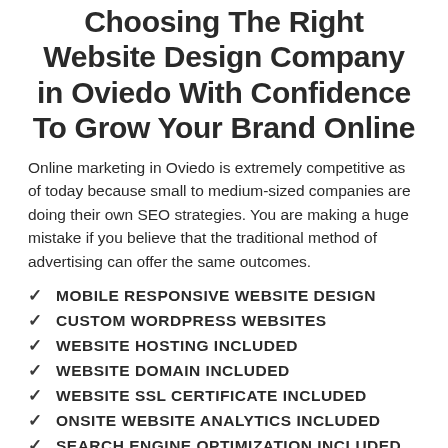Choosing The Right Website Design Company in Oviedo With Confidence To Grow Your Brand Online
Online marketing in Oviedo is extremely competitive as of today because small to medium-sized companies are doing their own SEO strategies. You are making a huge mistake if you believe that the traditional method of advertising can offer the same outcomes.
MOBILE RESPONSIVE WEBSITE DESIGN
CUSTOM WORDPRESS WEBSITES
WEBSITE HOSTING INCLUDED
WEBSITE DOMAIN INCLUDED
WEBSITE SSL CERTIFICATE INCLUDED
ONSITE WEBSITE ANALYTICS INCLUDED
SEARCH ENGINE OPTIMIZATION INCLUDED